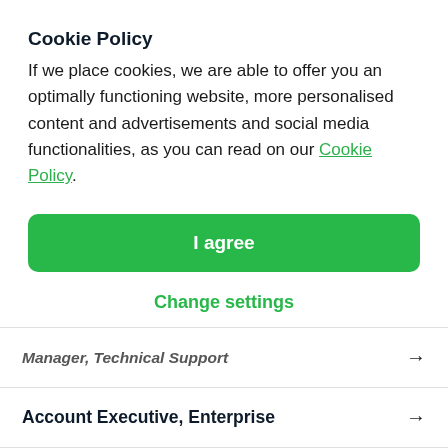Cookie Policy
If we place cookies, we are able to offer you an optimally functioning website, more personalised content and advertisements and social media functionalities, as you can read on our Cookie Policy.
I agree
Change settings
Manager, Technical Support →
Account Executive, Enterprise →